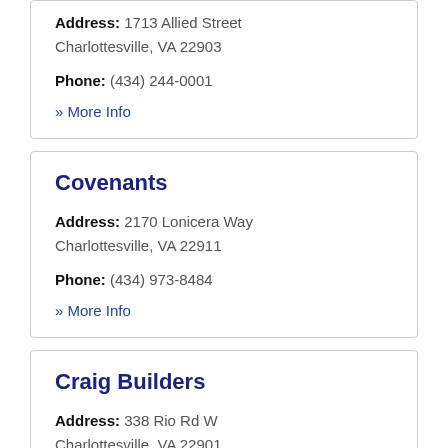Address: 1713 Allied Street Charlottesville, VA 22903
Phone: (434) 244-0001
» More Info
Covenants
Address: 2170 Lonicera Way Charlottesville, VA 22911
Phone: (434) 973-8484
» More Info
Craig Builders
Address: 338 Rio Rd W Charlottesville, VA 22901